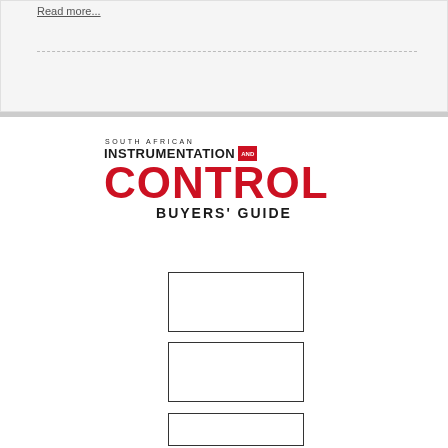Read more...
[Figure (logo): South African Instrumentation and Control Buyers' Guide logo with large red CONTROL text and black INSTRUMENTATION AND BUYERS GUIDE text]
[Figure (other): Empty placeholder box 1]
[Figure (other): Empty placeholder box 2]
[Figure (other): Empty placeholder box 3 (partially visible)]